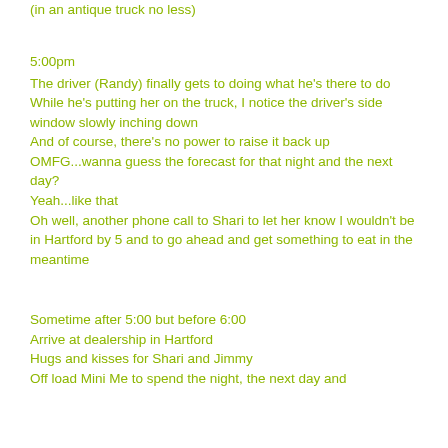(in an antique truck no less)
5:00pm
The driver (Randy) finally gets to doing what he's there to do
While he's putting her on the truck, I notice the driver's side window slowly inching down
And of course, there's no power to raise it back up
OMFG...wanna guess the forecast for that night and the next day?
Yeah...like that
Oh well, another phone call to Shari to let her know I wouldn't be in Hartford by 5 and to go ahead and get something to eat in the meantime
Sometime after 5:00 but before 6:00
Arrive at dealership in Hartford
Hugs and kisses for Shari and Jimmy
Off load Mini Me to spend the night, the next day and